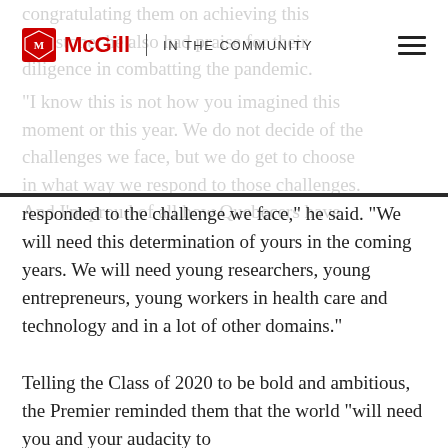McGill | IN THE COMMUNITY
congratulating them on achieving this milestone, he also had praise for their diligence in combatting the pandemic.
“I know this is not how you imagined this moment or this year. We do not decide of the challenges we face, but we do get to choose in what way we respond to those challenges. And I’m proud of all how Quebecers have responded to the challenge we face,” he said. “We will need this determination of yours in the coming years. We will need young researchers, young entrepreneurs, young workers in health care and technology and in a lot of other domains.”
Telling the Class of 2020 to be bold and ambitious, the Premier reminded them that the world “will need you and your audacity to